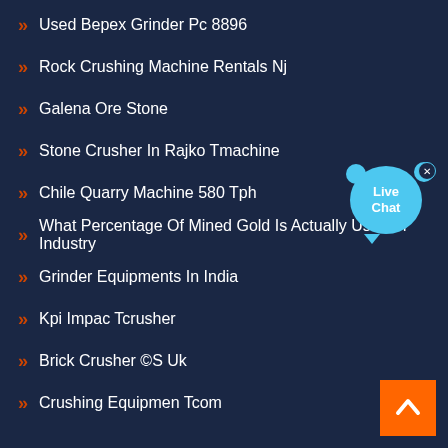Used Bepex Grinder Pc 8896
Rock Crushing Machine Rentals Nj
Galena Ore Stone
Stone Crusher In Rajko Tmachine
Chile Quarry Machine 580 Tph
What Percentage Of Mined Gold Is Actually Used In Industry
Grinder Equipments In India
Kpi Impac Tcrusher
Brick Crusher ©S Uk
Crushing Equipmen Tcom
[Figure (infographic): Live Chat button with blue speech bubble and cat ears]
[Figure (other): Orange back-to-top button with upward chevron arrow]